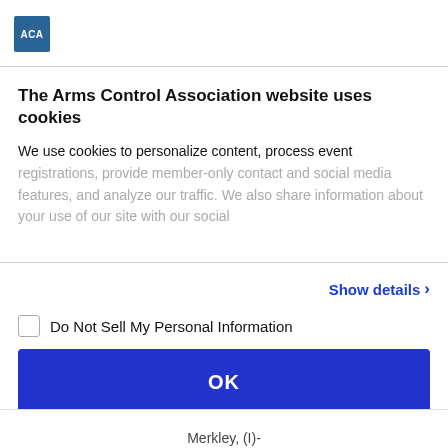[Figure (logo): ACA logo — blue square with white text 'ACA']
The Arms Control Association website uses cookies
We use cookies to personalize content, process event registrations, provide member-only contact and social media features, and analyze our traffic. We also share information about your use of our site with our social
Show details >
Do Not Sell My Personal Information
OK
Powered by Cookiebot by Usercentrics
Merkley, (I)-